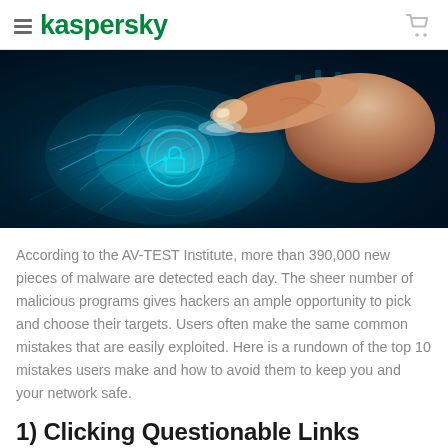kaspersky
[Figure (photo): A finger touching a glowing digital touchscreen with blue cybersecurity circuit patterns and a glowing lock icon]
According to the AV-TEST Institute, more than 390,000 new pieces of malware are detected each day. The sheer number of malicious programs gives hackers an ample opportunity to pick and choose their targets. Users often make the same common mistakes that are easily exploited. Here is a rundown of the top 10 mistakes users make and how to avoid them to keep you and your network safe.
1) Clicking Questionable Links